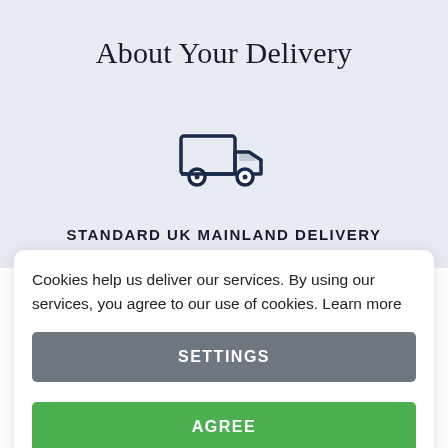About Your Delivery
[Figure (illustration): Delivery truck icon — line-art style truck in dark navy blue]
STANDARD UK MAINLAND DELIVERY
Cookies help us deliver our services. By using our services, you agree to our use of cookies. Learn more
SETTINGS
AGREE